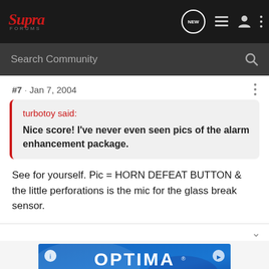Supra Forums navigation bar with logo, NEW chat bubble, list icon, user icon, and more icon
Search Community
#7 · Jan 7, 2004
turbotoy said:
Nice score! I've never even seen pics of the alarm enhancement package.
See for yourself. Pic = HORN DEFEAT BUTTON & the little perforations is the mic for the glass break sensor.
[Figure (screenshot): Optima Batteries advertisement banner with blue gradient background and white OPTIMA BATTERIES logo]